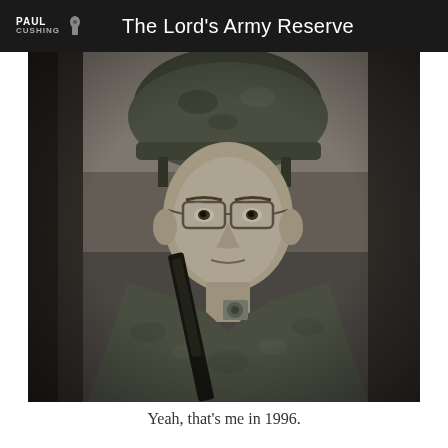Paul Cushing – The Lord's Army Reserve
[Figure (photo): Black and white photograph of a young soldier wearing a military helmet and glasses, holding a rifle, dressed in camouflage gear, looking directly at the camera. Appears to be from the mid-1990s.]
Yeah, that's me in 1996.